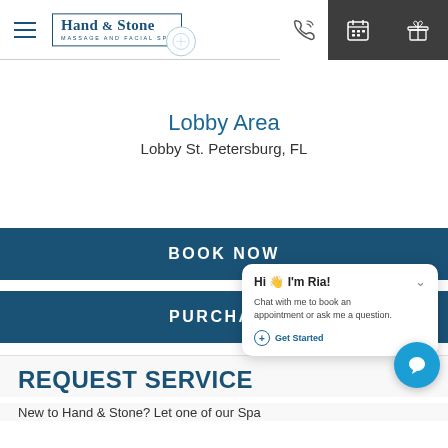Hand & Stone Massage and Facial Spa — navigation header with menu, logo, phone, calendar, and gift icons
Lobby Area
Lobby St. Petersburg, FL
BOOK NOW
PURCHASE
Hi 🌿 I'm Ria! Chat with me to book an appointment or ask me a question. Get Started
REQUEST SERVICE
New to Hand & Stone? Let one of our Spa